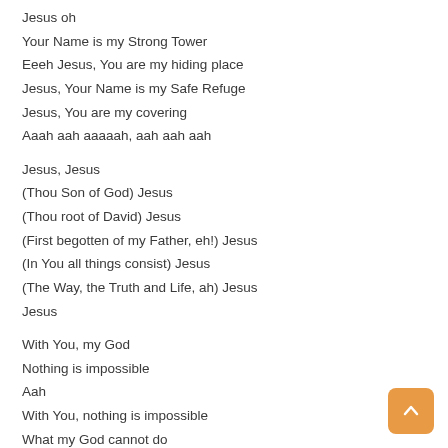Jesus oh
Your Name is my Strong Tower
Eeeh Jesus, You are my hiding place
Jesus, Your Name is my Safe Refuge
Jesus, You are my covering
Aaah aah aaaaah, aah aah aah
Jesus, Jesus
(Thou Son of God) Jesus
(Thou root of David) Jesus
(First begotten of my Father, eh!) Jesus
(In You all things consist) Jesus
(The Way, the Truth and Life, ah) Jesus
Jesus
With You, my God
Nothing is impossible
Aah
With You, nothing is impossible
What my God cannot do